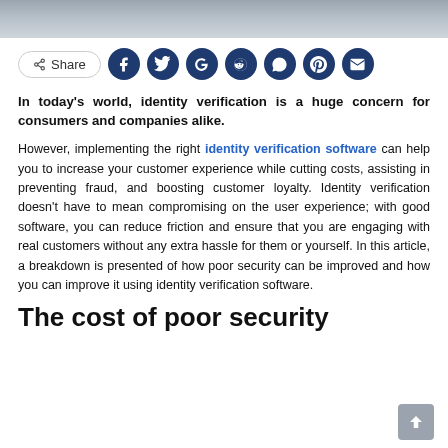[Figure (photo): Partial photo of person's head/hair at top of page]
Share [social icons: Facebook, Twitter, Google, Reddit, WhatsApp, Pinterest, Email]
In today's world, identity verification is a huge concern for consumers and companies alike.
However, implementing the right identity verification software can help you to increase your customer experience while cutting costs, assisting in preventing fraud, and boosting customer loyalty. Identity verification doesn't have to mean compromising on the user experience; with good software, you can reduce friction and ensure that you are engaging with real customers without any extra hassle for them or yourself. In this article, a breakdown is presented of how poor security can be improved and how you can improve it using identity verification software.
The cost of poor security